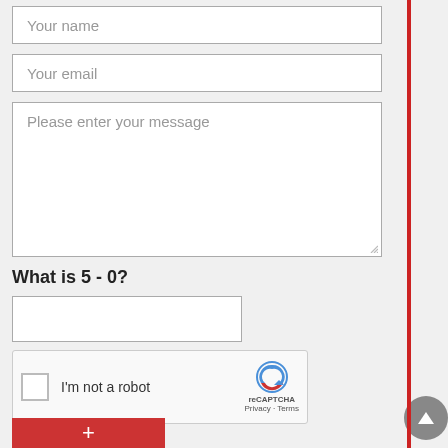[Figure (screenshot): Web contact form with input fields for name, email, message, a math CAPTCHA question 'What is 5 - 0?', a reCAPTCHA checkbox widget, and a partially visible red submit button. A red vertical scrollbar is visible on the right. A grey scroll-to-top circular button appears at the bottom right.]
Your name
Your email
Please enter your message
What is 5 - 0?
I'm not a robot
reCAPTCHA
Privacy · Terms